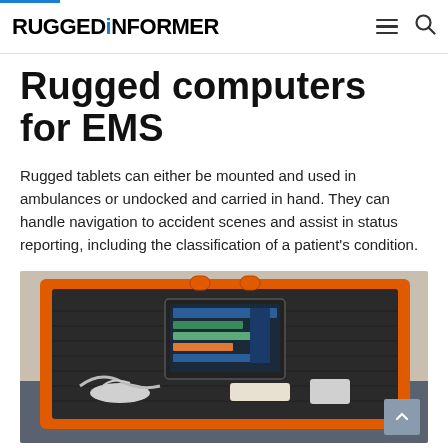RUGGEDINFORMER
Rugged computers for EMS
Rugged tablets can either be mounted and used in ambulances or undocked and carried in hand. They can handle navigation to accident scenes and assist in status reporting, including the classification of a patient's condition.
[Figure (photo): An orange rugged carrying case open to reveal a rugged tablet with medical monitoring software displayed on screen, along with various medical device cables and accessories, placed on a table.]